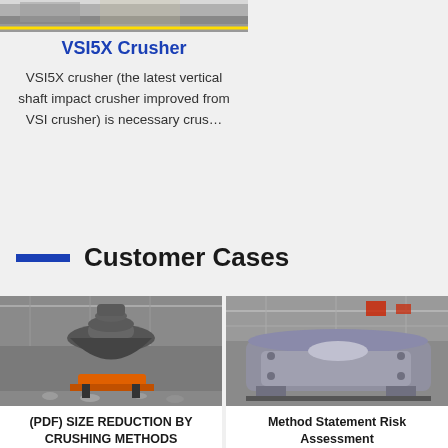[Figure (photo): Top partial view of industrial equipment/machinery in a workshop setting]
VSI5X Crusher
VSI5X crusher (the latest vertical shaft impact crusher improved from VSI crusher) is necessary crus…
Customer Cases
[Figure (photo): Cone crusher machine in an industrial facility with orange base and grey body]
(PDF) SIZE REDUCTION BY CRUSHING METHODS
There are two kinds of
[Figure (photo): Large grey industrial crushing machine in a factory/warehouse setting]
Method Statement Risk Assessment
2. Works to be supervised